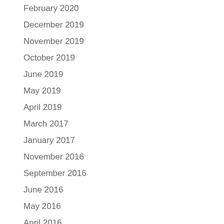February 2020
December 2019
November 2019
October 2019
June 2019
May 2019
April 2019
March 2017
January 2017
November 2016
September 2016
June 2016
May 2016
April 2016
March 2016